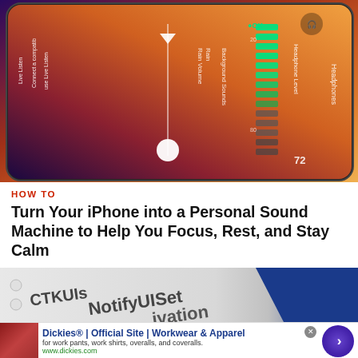[Figure (photo): Close-up photo of an iPhone screen showing sound/headphone level controls with green LED bar indicators, Rain Volume slider, Background Sounds options, and Headphone Level display. The screen has dark theme with warm amber/orange gradient background.]
HOW TO
Turn Your iPhone into a Personal Sound Machine to Help You Focus, Rest, and Stay Calm
[Figure (screenshot): Partial screenshot showing code or text with 'CTKUIs', 'NotifyUISet', 'ivation' visible on white/light background with a blue diagonal stripe.]
Dickies® | Official Site | Workwear & Apparel
for work pants, work shirts, overalls, and coveralls.
www.dickies.com